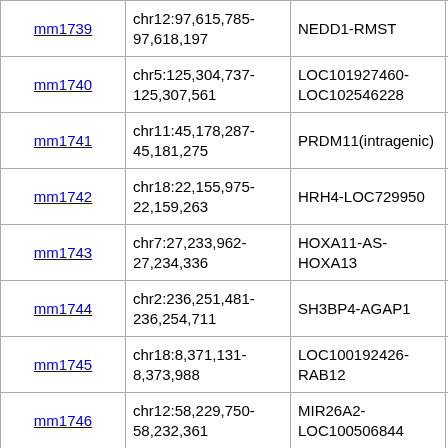| mm1739 | chr12:97,615,785-97,618,197 | NEDD1-RMST | chr10:91,8…91,853,486 |
| mm1740 | chr5:125,304,737-125,307,561 | LOC101927460-LOC102546228 | chr18:56,1…56,176,940 |
| mm1741 | chr11:45,178,287-45,181,275 | PRDM11(intragenic) | chr2:92,875…92,877,129 |
| mm1742 | chr18:22,155,975-22,159,263 | HRH4-LOC729950 | chr18:13,27…13,276,100 |
| mm1743 | chr7:27,233,962-27,234,336 | HOXA11-AS-HOXA13 | chr6:52,20…52,205,362 |
| mm1744 | chr2:236,251,481-236,254,711 | SH3BP4-AGAP1 | chr1:91,26…91,264,282 |
| mm1745 | chr18:8,371,131-8,373,988 | LOC100192426-RAB12 | chr17:67,0…67,047,622 |
| mm1746 | chr12:58,229,750-58,232,361 | MIR26A2-LOC100506844 | chr10:126,4…126,424,56 |
| mm1747 | chr8:146,294,107-146,294,467 | C8orf33- | chr15:76,78…76,784,10 |